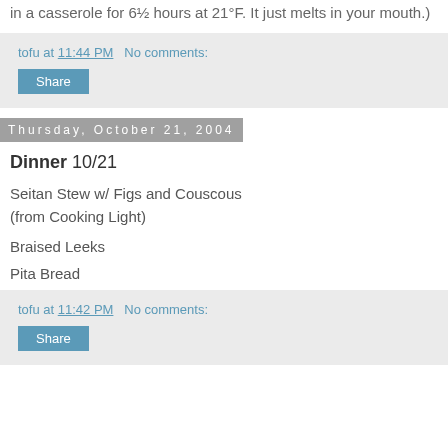in a casserole for 6½ hours at 21°F. It just melts in your mouth.)
tofu at 11:44 PM   No comments:
Share
Thursday, October 21, 2004
Dinner 10/21
Seitan Stew w/ Figs and Couscous
(from Cooking Light)
Braised Leeks
Pita Bread
tofu at 11:42 PM   No comments:
Share